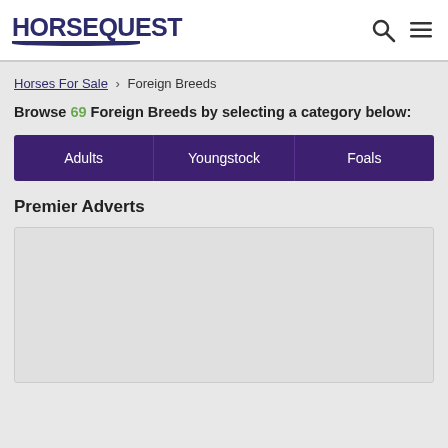HorseQuest
Horses For Sale › Foreign Breeds
Browse 69 Foreign Breeds by selecting a category below:
| Adults | Youngstock | Foals |
| --- | --- | --- |
Premier Adverts
[Figure (other): Advertisement placeholder box]